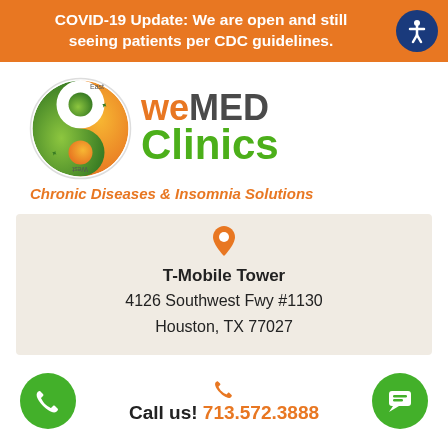COVID-19 Update: We are open and still seeing patients per CDC guidelines.
[Figure (logo): weMED Clinics logo with yin-yang style swirl in green and orange, East/West labels, and green Clinics text]
Chronic Diseases & Insomnia Solutions
T-Mobile Tower
4126 Southwest Fwy #1130
Houston, TX 77027
Call us! 713.572.3888